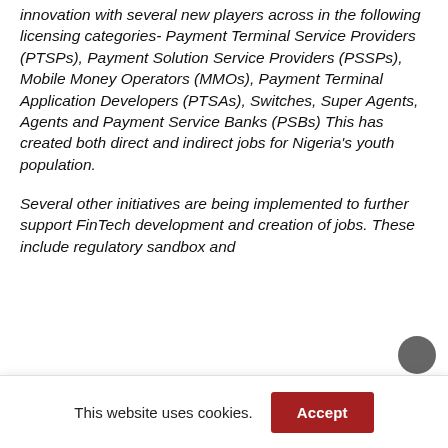innovation with several new players across in the following licensing categories- Payment Terminal Service Providers (PTSPs), Payment Solution Service Providers (PSSPs), Mobile Money Operators (MMOs), Payment Terminal Application Developers (PTSAs), Switches, Super Agents, Agents and Payment Service Banks (PSBs) This has created both direct and indirect jobs for Nigeria's youth population.
Several other initiatives are being implemented to further support FinTech development and creation of jobs. These include regulatory sandbox and
This website uses cookies.